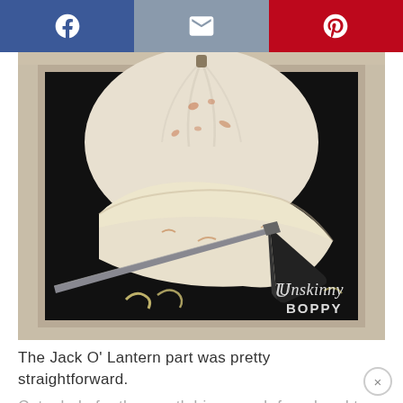[Figure (other): Share bar with Facebook (blue), Email (grey), and Pinterest (red) buttons]
[Figure (photo): A white pumpkin being cut with a large kitchen knife, placed on a dark surface inside a whitewashed wooden crate. An Unskinny Boppy watermark appears in the lower right.]
The Jack O' Lantern part was pretty straightforward.
Cut a hole for the mouth big enough for a hand to